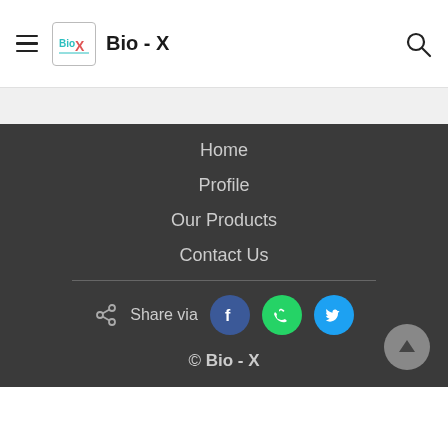Bio - X
Home
Profile
Our Products
Contact Us
Share via
© Bio - X